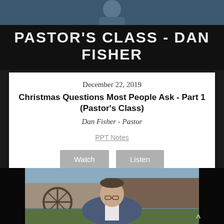[Figure (photo): Top banner area with person photo and dark background with 'PASTOR'S CLASS - DAN FISHER' title text]
PASTOR'S CLASS - DAN FISHER
December 22, 2019
Christmas Questions Most People Ask - Part 1 (Pastor's Class)
Dan Fisher - Pastor
PPT Notes
[Figure (photo): Portrait photo of Dan Fisher, a middle-aged man in a blue blazer, smiling, with outdoor rustic background including wagon wheel and stone wall]